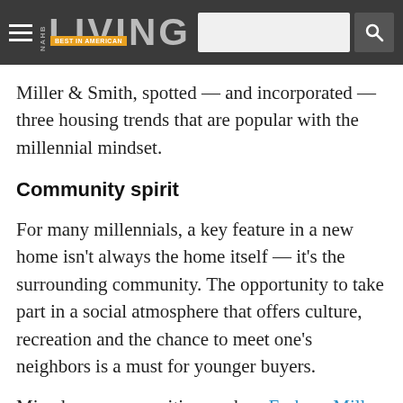NAHB LIVING — BEST IN AMERICAN
Miller & Smith, spotted — and incorporated — three housing trends that are popular with the millennial mindset.
Community spirit
For many millennials, a key feature in a new home isn't always the home itself — it's the surrounding community. The opportunity to take part in a social atmosphere that offers culture, recreation and the chance to meet one's neighbors is a must for younger buyers.
Mixed-use communities, such as Embrey Mill or Brambleton, both in northern Virginia, address this